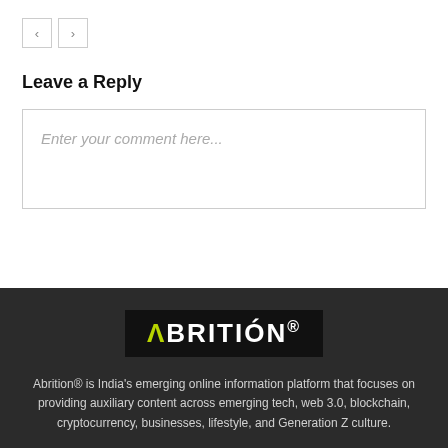[Figure (other): Navigation left and right arrow buttons]
Leave a Reply
Enter your comment here...
[Figure (logo): ABRITION® logo on black background with green stylized A]
Abrition® is India's emerging online information platform that focuses on providing auxiliary content across emerging tech, web 3.0, blockchain, cryptocurrency, businesses, lifestyle, and Generation Z culture.